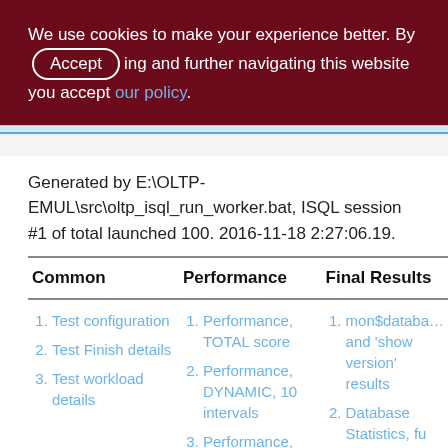We use cookies to make your experience better. By accepting and further navigating this website you accept our policy.
Generated by E:\OLTP-EMUL\src\oltp_isql_run_worker.bat, ISQL session #1 of total launched 100. 2016-11-18 2:27:06.19.
| Common | Performance | Final Results |
| --- | --- | --- |
| 1. Test configuration
2. Test Finish details
3. Test workload details | 1. Performance, TOTAL score
2. Performance, DYNAMIC, 10 intervals
3. Performance, per MINUTE, | 1. mon$database and 'show version' results
2. Database Statistics, fu
3. Ratio |